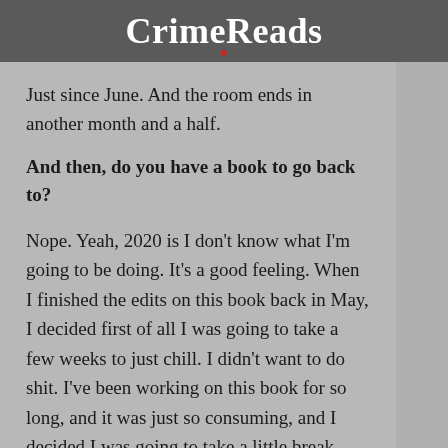CrimeReads
Just since June. And the room ends in another month and a half.
And then, do you have a book to go back to?
Nope. Yeah, 2020 is I don't know what I'm going to be doing. It's a good feeling. When I finished the edits on this book back in May, I decided first of all I was going to take a few weeks to just chill. I didn't want to do shit. I've been working on this book for so long, and it was just so consuming, and I decided I was going to take a little break. And then, since I only had the summer before my book came out, and I knew I was going to get busy going around promoting it, I kind of